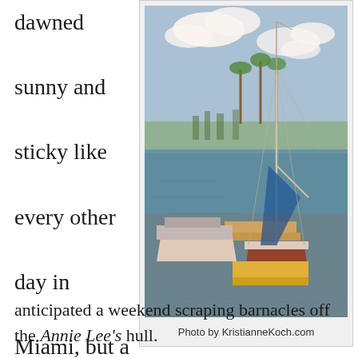dawned sunny and sticky like every other day in Miami, but a cloud of misery sat on my head like an anti-halo as I anticipated a weekend scraping barnacles off the Annie Lee's hull.
[Figure (photo): Sailboats and motorboats docked at a marina with blue sky and clouds in the background. Photo has a slightly vintage/polaroid look.]
Photo by KristianneKoch.com